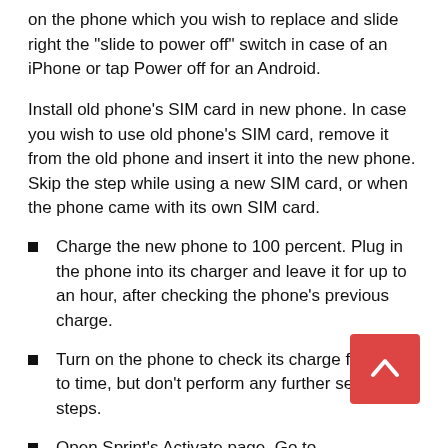on the phone which you wish to replace and slide right the “slide to power off” switch in case of an iPhone or tap Power off for an Android.
Install old phone’s SIM card in new phone. In case you wish to use old phone’s SIM card, remove it from the old phone and insert it into the new phone. Skip the step while using a new SIM card, or when the phone came with its own SIM card.
Charge the new phone to 100 percent. Plug in the phone into its charger and leave it for up to an hour, after checking the phone’s previous charge.
Turn on the phone to check its charge from time to time, but don’t perform any further setup steps.
Open Sprint’s Activate page. Go to sprint.com/activate in a computer web browser. Never use a phone’s web browser for the process.
Click Sign in to activate. Go to the yellow button at the